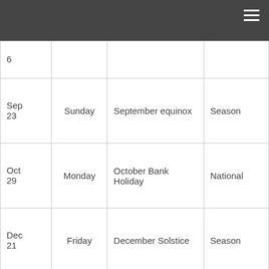| Date | Day | Holiday | Type |
| --- | --- | --- | --- |
| 6 |  |  |  |
| Sep 23 | Sunday | September equinox | Season |
| Oct 29 | Monday | October Bank Holiday | National |
| Dec 21 | Friday | December Solstice | Season |
| Dec 24 | Monday | Christmas Eve | Observance |
| Dec 25 | Tuesday | Christmas Day | National |